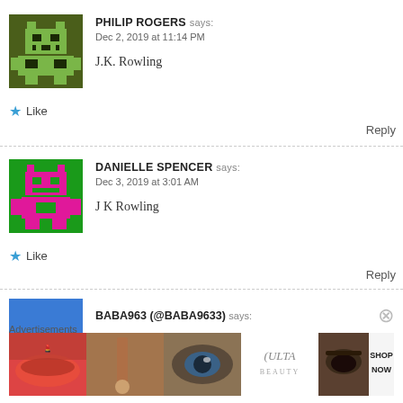[Figure (illustration): Pixel art avatar for Philip Rogers, dark olive green background with light green pixel robot character]
PHILIP ROGERS says:
Dec 2, 2019 at 11:14 PM

J.K. Rowling
★ Like
Reply
[Figure (illustration): Pixel art avatar for Danielle Spencer, bright green background with pink pixel robot character]
DANIELLE SPENCER says:
Dec 3, 2019 at 3:01 AM

J K Rowling
★ Like
Reply
[Figure (illustration): Solid blue rectangle avatar for BABA963]
BABA963 (@BABA9633) says:
Advertisements
[Figure (screenshot): ULTA beauty advertisement banner showing makeup imagery and SHOP NOW call to action]